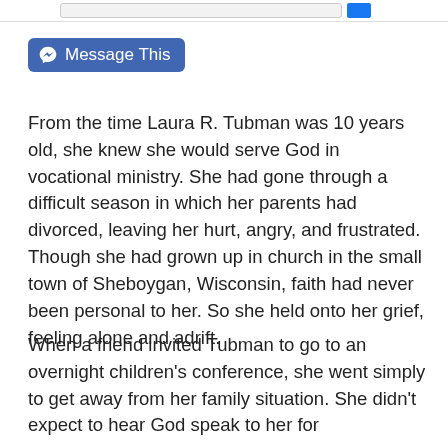[Figure (screenshot): Top navigation bar with search field and blue search button]
[Figure (other): Facebook 'Message This' button in blue with Facebook icon]
From the time Laura R. Tubman was 10 years old, she knew she would serve God in vocational ministry. She had gone through a difficult season in which her parents had divorced, leaving her hurt, angry, and frustrated. Though she had grown up in church in the small town of Sheboygan, Wisconsin, faith had never been personal to her. So she held onto her grief, feeling alone and adrift.
When a friend invited Tubman to go to an overnight children's conference, she went simply to get away from her family situation. She didn't expect to hear God speak to her for the first time.